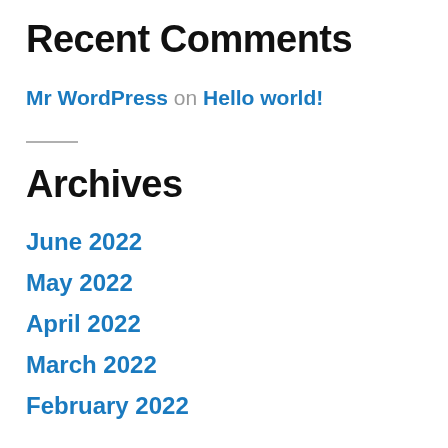Recent Comments
Mr WordPress on Hello world!
Archives
June 2022
May 2022
April 2022
March 2022
February 2022